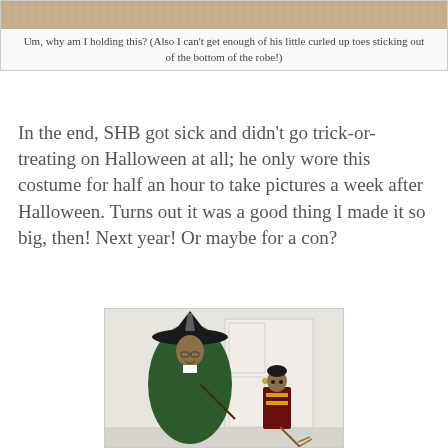[Figure (photo): Partial top image showing a beige/tan textured surface, likely carpet or fabric, cropped at top of page]
Um, why am I holding this? (Also I can't get enough of his little curled up toes sticking out of the bottom of the robe!)
In the end, SHB got sick and didn't go trick-or-treating on Halloween at all; he only wore this costume for half an hour to take pictures a week after Halloween. Turns out it was a good thing I made it so big, then! Next year! Or maybe for a con?
[Figure (photo): Photo of a woman dressed as a Harry Potter witch (McGonagall) in a dark green robe and large black witch hat holding a wand, standing next to a toddler dressed in a Quidditch robe (maroon and gold) near a white door]